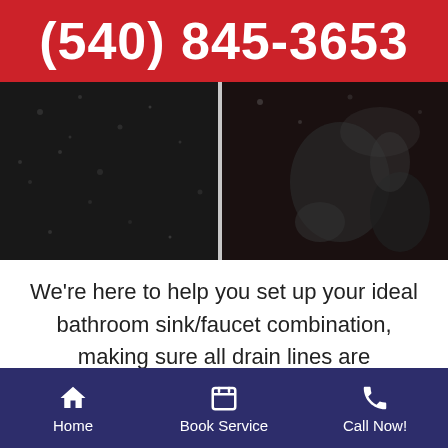(540) 845-3653
[Figure (photo): Dark close-up photo of a dirty or wet surface, possibly a drain or sink, with a vertical white line and blurry background elements]
We're here to help you set up your ideal bathroom sink/faucet combination, making sure all drain lines are connected properly so you can start using your upgraded fixtures without hassle!
Home | Book Service | Call Now!